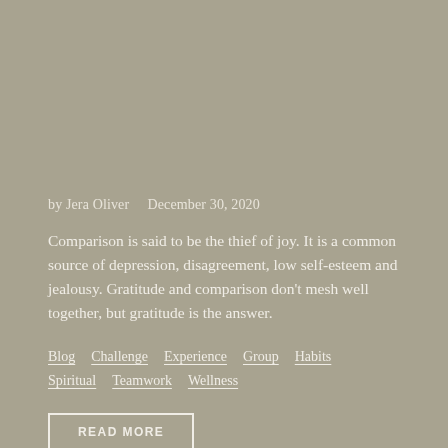by Jera Oliver    December 30, 2020
Comparison is said to be the thief of joy. It is a common source of depression, disagreement, low self-esteem and jealousy. Gratitude and comparison don't mesh well together, but gratitude is the answer.
Blog   Challenge   Experience   Group   Habits   Spiritual   Teamwork   Wellness
READ MORE